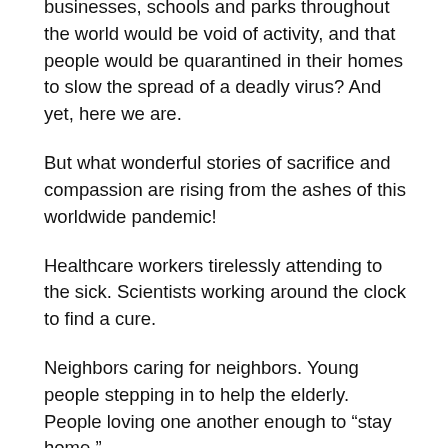businesses, schools and parks throughout the world would be void of activity, and that people would be quarantined in their homes to slow the spread of a deadly virus? And yet, here we are.
But what wonderful stories of sacrifice and compassion are rising from the ashes of this worldwide pandemic!
Healthcare workers tirelessly attending to the sick. Scientists working around the clock to find a cure.
Neighbors caring for neighbors. Young people stepping in to help the elderly. People loving one another enough to “stay home.”
These noble acts and others like them are